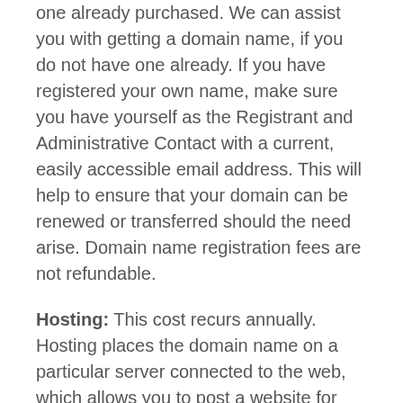one already purchased. We can assist you with getting a domain name, if you do not have one already. If you have registered your own name, make sure you have yourself as the Registrant and Administrative Contact with a current, easily accessible email address. This will help to ensure that your domain can be renewed or transferred should the need arise. Domain name registration fees are not refundable.
Hosting: This cost recurs annually. Hosting places the domain name on a particular server connected to the web, which allows you to post a website for viewing through a browser. You are NOT required to host through us, but we strongly PREFER that you do. Hosting comes with domain-based emails, bandwidth, storage space, database and security tools, and other features. Projects that involve